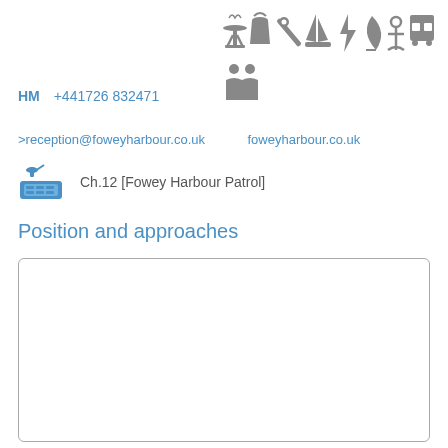[Figure (infographic): Row of grey maritime/harbour facility icons: BBQ/grill, bucket, wrench/tool, sailboat, lightning bolt, leaf/sail, anchor, bus]
[Figure (infographic): Grey icon of two people/family]
HM   +441726 832471
>reception@foweyharbour.co.uk    foweyharbour.co.uk
[Figure (infographic): Blue VHF radio icon followed by text: Ch.12 [Fowey Harbour Patrol]]
Position and approaches
[Figure (map): Empty map/chart box with rounded border, content not visible]